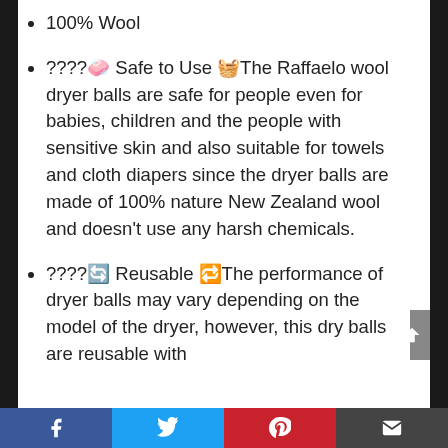100% Wool
????🧼 Safe to Use 🧺The Raffaelo wool dryer balls are safe for people even for babies, children and the people with sensitive skin and also suitable for towels and cloth diapers since the dryer balls are made of 100% nature New Zealand wool and doesn't use any harsh chemicals.
????🔄 Reusable 🔁The performance of dryer balls may vary depending on the model of the dryer, however, this dry balls are reusable with
Facebook  Twitter  Pinterest  Email